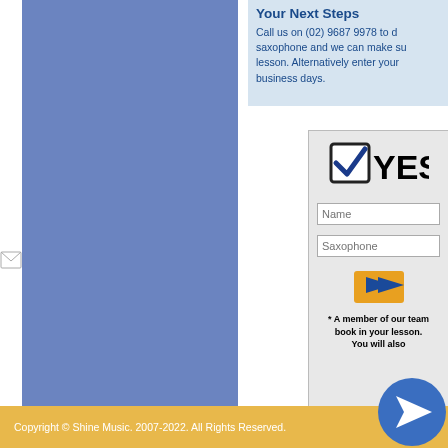Your Next Steps
Call us on (02) 9687 9978 to discuss saxophone and we can make sure lesson. Alternatively enter your business days.
[Figure (logo): Checkbox with checkmark and YES text logo]
Name
Saxophone
[Figure (illustration): Orange submit/send arrow button]
* A member of our team book in your lesson. You will also
[Figure (illustration): Small image icon bottom left of blue column]
[Figure (illustration): Blue circle send/paper plane icon bottom right]
Copyright © Shine Music. 2007-2022. All Rights Reserved.